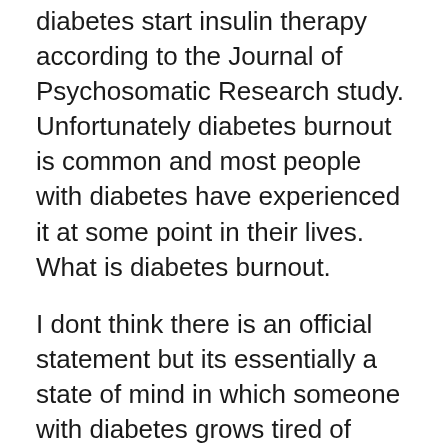diabetes start insulin therapy according to the Journal of Psychosomatic Research study. Unfortunately diabetes burnout is common and most people with diabetes have experienced it at some point in their lives. What is diabetes burnout.
I dont think there is an official statement but its essentially a state of mind in which someone with diabetes grows tired of managing their condition and then simply ignores it for a period of time or in some cases forever. The way you react to things and the emotions you feel can vary for different people. Among DBS subscales and other scales Loss of control and Exhaustion were significantly predicted diabetes